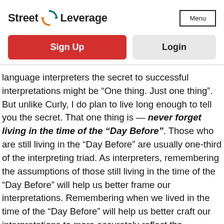Street Leverage | Menu
Sign Up
Login
language interpreters the secret to successful interpretations might be “One thing. Just one thing”. But unlike Curly, I do plan to live long enough to tell you the secret. That one thing is — never forget living in the time of the “Day Before”. Those who are still living in the “Day Before” are usually one-third of the interpreting triad. As interpreters, remembering the assumptions of those still living in the time of the “Day Before” will help us better frame our interpretations. Remembering when we lived in the time of the “Day Before” will help us better craft our interpretations to more accurately reflect the meanings and